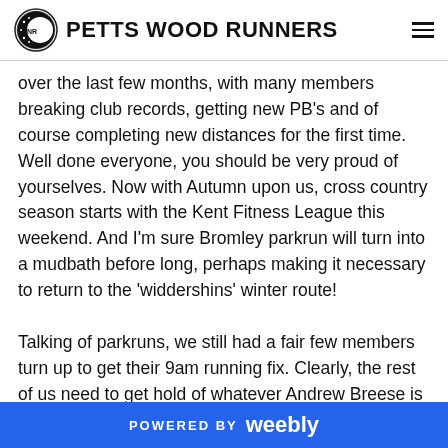PETTS WOOD RUNNERS
over the last few months, with many members breaking club records, getting new PB's and of course completing new distances for the first time. Well done everyone, you should be very proud of yourselves. Now with Autumn upon us, cross country season starts with the Kent Fitness League this weekend. And I'm sure Bromley parkrun will turn into a mudbath before long, perhaps making it necessary to return to the 'widdershins' winter route!
Talking of parkruns, we still had a fair few members turn up to get their 9am running fix. Clearly, the rest of us need to get hold of whatever Andrew Breese is eating for breakfast- he has set 6 new PB's over his last 7 parkruns and is almost sub 20 mins. Well done Andrew. There were
POWERED BY weebly